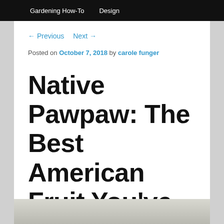Gardening How-To    Design
← Previous   Next →
Posted on October 7, 2018 by carole funger
Native Pawpaw: The Best American Fruit You've Never Heard Of
[Figure (photo): Bottom strip showing portion of a photo, appears to be a close-up texture image]